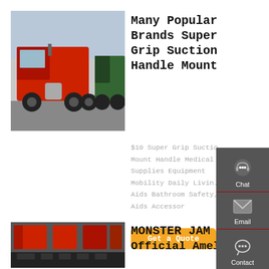[Figure (photo): Red trucks/semi-trucks parked in a lot, viewed from the side, outdoors with grey sky.]
Many Popular Brands Super Grip Suction Handle Mount
$10 Super Grip Suction Mount Handle Medical Supplies Equipment Mobility Daily Living Aids Bathroom Safety, Aids Accessor
Get a Quote
[Figure (photo): Interior view of a vehicle looking out at trucks and vehicles in a lot.]
MONSTER JAM Official Amel